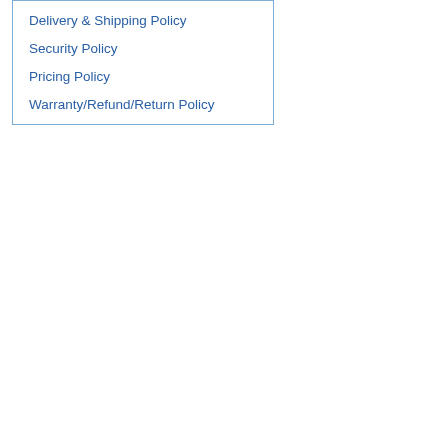Delivery & Shipping Policy
Security Policy
Pricing Policy
Warranty/Refund/Return Policy
Part N
Service package checke
The in the se open t the ins
This li
Detail
SKU
Weigh
Our price:
| Qua |
| --- |
| 4+ It |
Option
Model